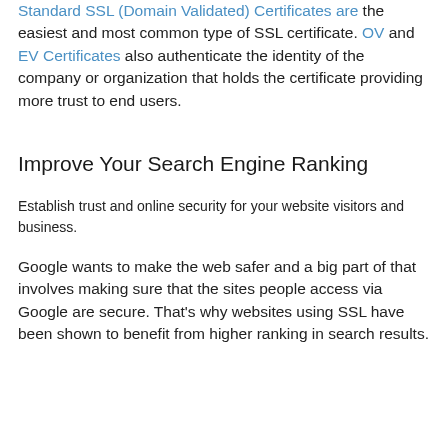Standard SSL (Domain Validated) Certificates are the easiest and most common type of SSL certificate. OV and EV Certificates also authenticate the identity of the company or organization that holds the certificate providing more trust to end users.
Improve Your Search Engine Ranking
Establish trust and online security for your website visitors and business.
Google wants to make the web safer and a big part of that involves making sure that the sites people access via Google are secure. That's why websites using SSL have been shown to benefit from higher ranking in search results.